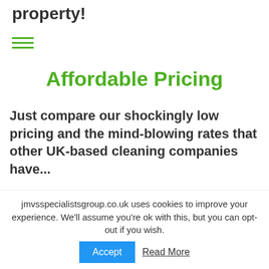property!
Affordable Pricing
Just compare our shockingly low pricing and the mind-blowing rates that other UK-based cleaning companies have...
[Figure (photo): Close-up photo of green brush bristles with a pink/magenta cleaning brush visible on the right side.]
jmvsspecialistsgroup.co.uk uses cookies to improve your experience. We'll assume you're ok with this, but you can opt-out if you wish. Accept Read More